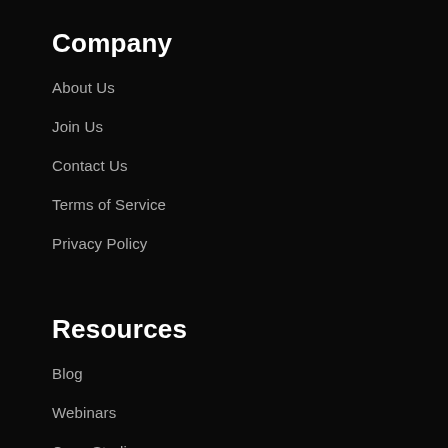Company
About Us
Join Us
Contact Us
Terms of Service
Privacy Policy
Resources
Blog
Webinars
Case Studies
FAQs